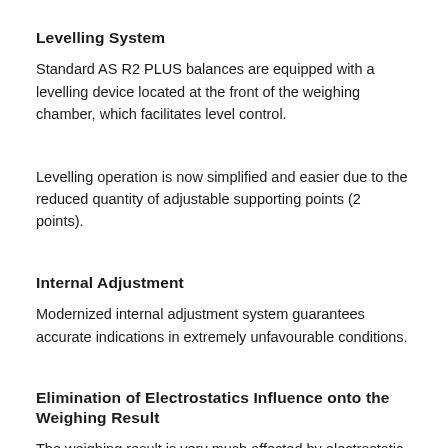Levelling System
Standard AS R2 PLUS balances are equipped with a levelling device located at the front of the weighing chamber, which facilitates level control.
Levelling operation is now simplified and easier due to the reduced quantity of adjustable supporting points (2 points).
Internal Adjustment
Modernized internal adjustment system guarantees accurate indications in extremely unfavourable conditions.
Elimination of Electrostatics Influence onto the Weighing Result
The weighing result is very much affected by electrostatic charges accumulated in the sample, laboratory vessels and other accessories. Special antistatic pane coating guarantees